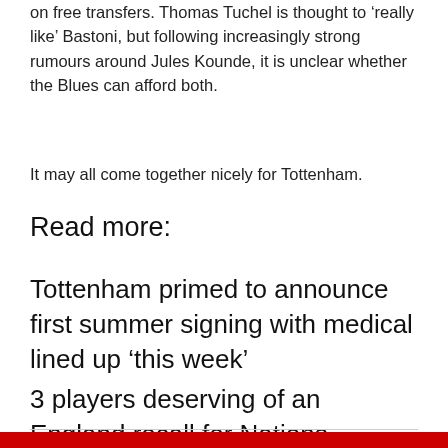on free transfers. Thomas Tuchel is thought to ‘really like’ Bastoni, but following increasingly strong rumours around Jules Kounde, it is unclear whether the Blues can afford both.
It may all come together nicely for Tottenham.
Read more:
Tottenham primed to announce first summer signing with medical lined up ‘this week’
3 players deserving of an England recall for Nations League fixtures